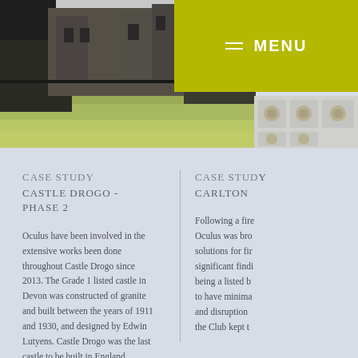[Figure (photo): Exterior photo of Castle Drogo showing the granite castle building with surrounding lawn and trees]
[Figure (photo): Close-up photo of decorative plasterwork ceiling with floral medallion details]
CASE STUDY
CASTLE DROGO - PHASE 2
Oculus have been involved in the extensive works been done throughout Castle Drogo since 2013. The Grade 1 listed castle in Devon was constructed of granite and built between the years of 1911 and 1930, and designed by Edwin Lutyens. Castle Drogo was the last castle to be built in England.
CASE STUDY
CARLTON ...
Following a fire... Oculus was bro... solutions for fir... significant findi... being a listed b... to have minima... and disruption ... the Club kept t...